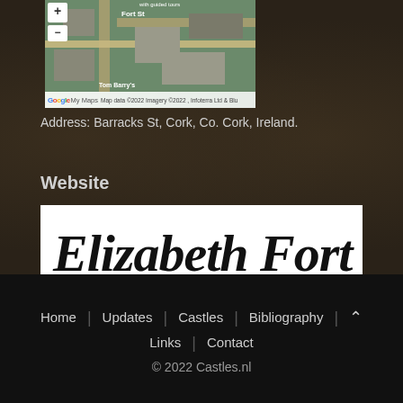[Figure (map): Google My Maps satellite view showing Fort St area near Elizabeth Fort, Cork, Ireland. Map data ©2022 Imagery ©2022, Infoterra Ltd & Blu]
Address: Barracks St, Cork, Co. Cork, Ireland.
Website
[Figure (logo): Elizabeth Fort logo in decorative blackletter/gothic calligraphy script on white background]
Home
Updates
Castles
Bibliography
Links
Contact
© 2022 Castles.nl